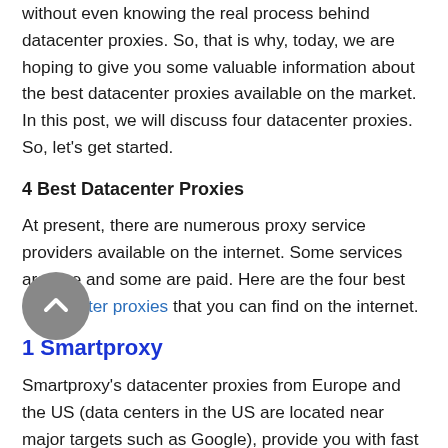without even knowing the real process behind datacenter proxies. So, that is why, today, we are hoping to give you some valuable information about the best datacenter proxies available on the market. In this post, we will discuss four datacenter proxies. So, let's get started.
4 Best Datacenter Proxies
At present, there are numerous proxy service providers available on the internet. Some services are free and some are paid. Here are the four best data center proxies that you can find on the internet.
1 Smartproxy
Smartproxy's datacenter proxies from Europe and the US (data centers in the US are located near major targets such as Google), provide you with fast and reliable connections. These shared datacenter IPs rotate seamlessly through a 100K proxy